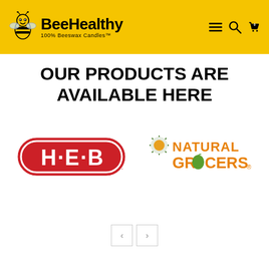[Figure (logo): Bee Healthy 100% Beeswax Candles logo with bee illustration on yellow header background, with navigation icons (hamburger menu, search, cart with 0)]
OUR PRODUCTS ARE AVAILABLE HERE
[Figure (logo): H-E-B logo (red oval with white text H-E-B) and Natural Grocers logo (orange text with green apple)]